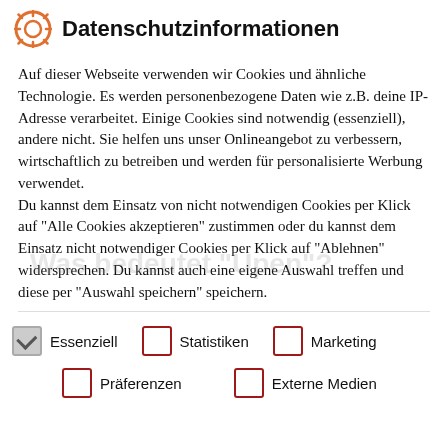Datenschutzinformationen
Auf dieser Webseite verwenden wir Cookies und ähnliche Technologie. Es werden personenbezogene Daten wie z.B. deine IP-Adresse verarbeitet. Einige Cookies sind notwendig (essenziell), andere nicht. Sie helfen uns unser Onlineangebot zu verbessern, wirtschaftlich zu betreiben und werden für personalisierte Werbung verwendet. Du kannst dem Einsatz von nicht notwendigen Cookies per Klick auf "Alle Cookies akzeptieren" zustimmen oder du kannst dem Einsatz nicht notwendiger Cookies per Klick auf "Ablehnen" widersprechen. Du kannst auch eine eigene Auswahl treffen und diese per "Auswahl speichern" speichern.
Essenziell (checked)
Statistiken
Marketing
Präferenzen
Externe Medien
mean? Meaning, definition, explanation